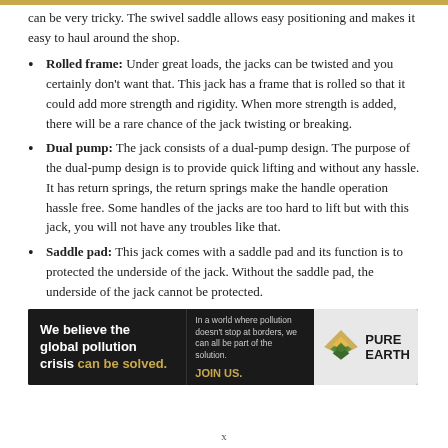can be very tricky. The swivel saddle allows easy positioning and makes it easy to haul around the shop.
Rolled frame: Under great loads, the jacks can be twisted and you certainly don't want that. This jack has a frame that is rolled so that it could add more strength and rigidity. When more strength is added, there will be a rare chance of the jack twisting or breaking.
Dual pump: The jack consists of a dual-pump design. The purpose of the dual-pump design is to provide quick lifting and without any hassle. It has return springs, the return springs make the handle operation hassle free. Some handles of the jacks are too hard to lift but with this jack, you will not have any troubles like that.
Saddle pad: This jack comes with a saddle pad and its function is to protected the underside of the jack. Without the saddle pad, the underside of the jack cannot be protected.
[Figure (infographic): Pure Earth advertisement banner: black background on left with text 'We believe the global pollution crisis can be solved.' in white and gold. Middle section has small text about pollution not stopping at borders and JOIN US in gold. Right section has white/grey background with Pure Earth diamond logo and PURE EARTH text in black.]
x